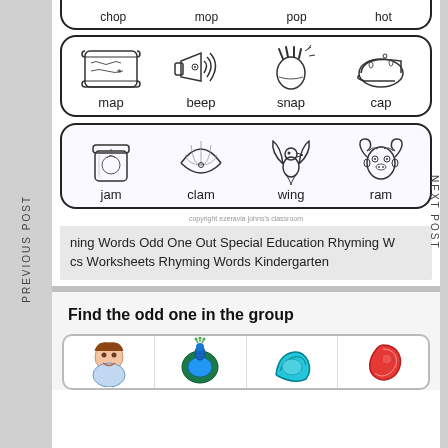[Figure (illustration): Worksheet row with images and words: chop, mop, pop, hot (partially cropped at top)]
[Figure (illustration): Worksheet row with images: map, beep, snap, cap]
[Figure (illustration): Worksheet row with images: jam, clam, wing, ram]
copyright ezeravia johns's classroom
ning Words Odd One Out Special Education Rhyming W cs Worksheets Rhyming Words Kindergarten
PREVIOUS POST
NEXT POST
Find the odd one in the group
[Figure (illustration): Bottom worksheet showing colorful images for odd-one-out activity (partially visible)]